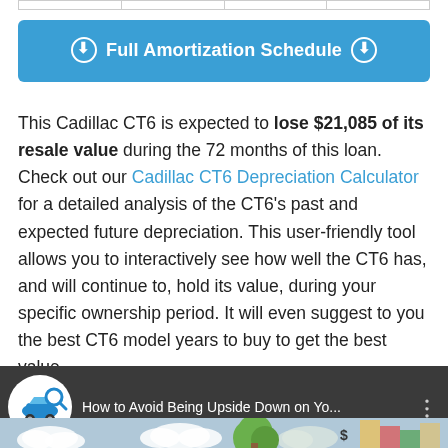|  |
⬇ Full Amortization Schedule ⬇
This Cadillac CT6 is expected to lose $21,085 of its resale value during the 72 months of this loan. Check out our Cadillac CT6 Depreciation Calculator for a detailed analysis of the CT6's past and expected future depreciation. This user-friendly tool allows you to interactively see how well the CT6 has, and will continue to, hold its value, during your specific ownership period. It will even suggest to you the best CT6 model years to buy to get the best value.
[Figure (screenshot): Video bar at the bottom showing CAREdge logo and title 'How to Avoid Being Upside Down on Yo...' with three dots menu icon and partial video thumbnail preview with clouds and a car graphic with dollar sign]